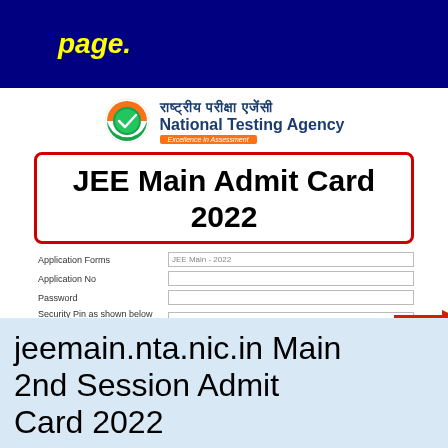page.
[Figure (screenshot): National Testing Agency website screenshot showing JEE Main Admit Card 2022 login form with fields for Application Form, Application No, Password, Security Pin, and a red arrow pointing to the Security Pin field. CAPTCHA shows L75P74.]
jeemain.nta.nic.in Main 2nd Session Admit Card 2022